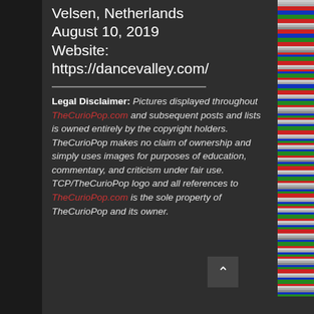Velsen, Netherlands August 10, 2019 Website: https://dancevalley.com/
Legal Disclaimer: Pictures displayed throughout TheCurioPop.com and subsequent posts and lists is owned entirely by the copyright holders. TheCurioPop makes no claim of ownership and simply uses images for purposes of education, commentary, and criticism under fair use. TCP/TheCurioPop logo and all references to TheCurioPop.com is the sole property of TheCurioPop and its owner.